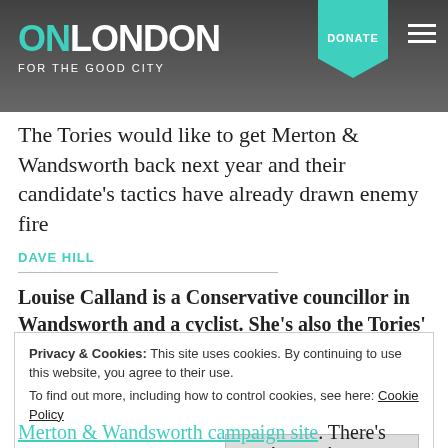ON LONDON — FOR THE GOOD CITY | DONATE
The Tories would like to get Merton & Wandsworth back next year and their candidate's tactics have already drawn enemy fire
DAVE HILL
Louise Calland is a Conservative councillor in Wandsworth and a cyclist. She's also the Tories' candidate for the Merton & Wandsworth London
Privacy & Cookies: This site uses cookies. By continuing to use this website, you agree to their use.
To find out more, including how to control cookies, see here: Cookie Policy
Close and accept
Merton & Wandsworth campaign site. There's